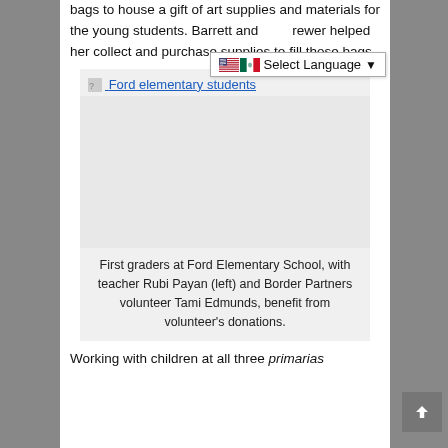bags to house a gift of art supplies and materials for the young students. Barrett and Brewer helped her collect and purchase supplies to fill those bags.
[Figure (photo): Broken/missing image placeholder labeled 'Ford elementary students' — a photo of first graders at Ford Elementary School with teacher Rubi Payan (left) and Border Partners volunteer Tami Edmunds.]
First graders at Ford Elementary School, with teacher Rubi Payan (left) and Border Partners volunteer Tami Edmunds, benefit from volunteer's donations.
Working with children at all three primarias